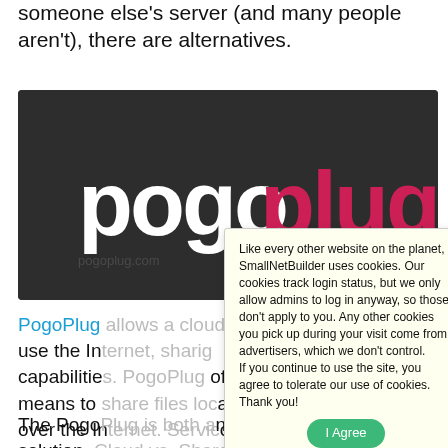someone else's server (and many people aren't), there are alternatives.
[Figure (screenshot): PogoPlug logo on dark background with white 'pogo' and pink 'plug' text]
PogoPlug ... cloud ... work to use the In... g capabilities... g offers a means to ... ally and over the In... ous. A
The Pogo... nd a cloud solution. ... drives to the physic... plug software a... om anywhere ... work or over the In... DA.
[Figure (screenshot): Cookie consent modal overlay with light yellow background. Text: 'Like every other website on the planet, SmallNetBuilder uses cookies. Our cookies track login status, but we only allow admins to log in anyway, so those don't apply to you. Any other cookies you pick up during your visit come from advertisers, which we don't control. If you continue to use the site, you agree to tolerate our use of cookies. Thank you!' with a green 'I Agree' button.]